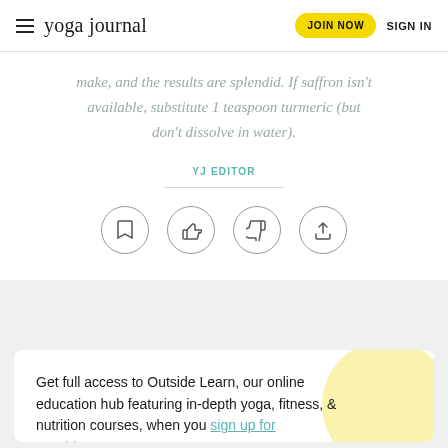yoga journal | JOIN NOW | SIGN IN
make, and the results are splendid. If saffron isn't available, substitute 1 teaspoon turmeric (but don't dissolve in water).
YJ EDITOR
[Figure (infographic): Four circular icon buttons: bookmark, thumbs up, thumbs down, share]
Get full access to Outside Learn, our online education hub featuring in-depth yoga, fitness, & nutrition courses, when you sign up for Outside+.